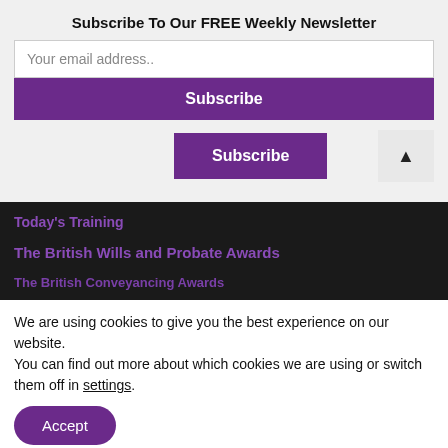Subscribe To Our FREE Weekly Newsletter
Your email address..
Subscribe
Subscribe
Today's Training
The British Wills and Probate Awards
The British Conveyancing Awards
We are using cookies to give you the best experience on our website.
You can find out more about which cookies we are using or switch them off in settings.
Accept